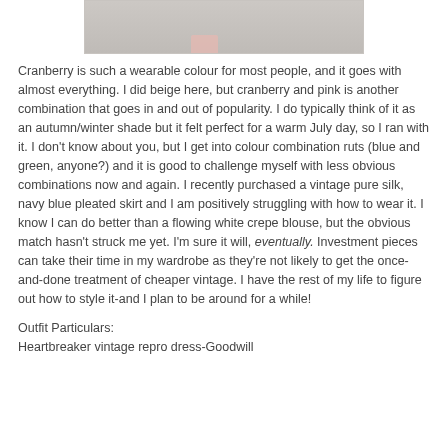[Figure (photo): Partial photo visible at top of page, appears to show feet or lower body on a surface]
Cranberry is such a wearable colour for most people, and it goes with almost everything. I did beige here, but cranberry and pink is another combination that goes in and out of popularity. I do typically think of it as an autumn/winter shade but it felt perfect for a warm July day, so I ran with it. I don't know about you, but I get into colour combination ruts (blue and green, anyone?) and it is good to challenge myself with less obvious combinations now and again. I recently purchased a vintage pure silk, navy blue pleated skirt and I am positively struggling with how to wear it. I know I can do better than a flowing white crepe blouse, but the obvious match hasn't struck me yet. I'm sure it will, eventually. Investment pieces can take their time in my wardrobe as they're not likely to get the once-and-done treatment of cheaper vintage. I have the rest of my life to figure out how to style it-and I plan to be around for a while!
Outfit Particulars:
Heartbreaker vintage repro dress-Goodwill